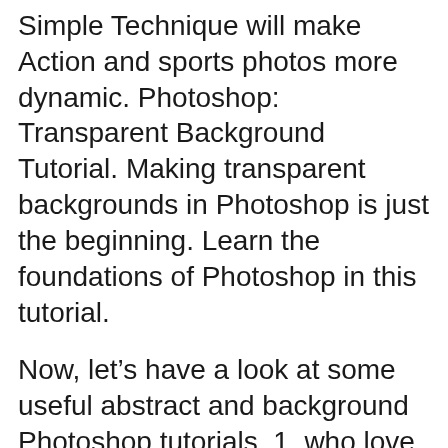Simple Technique will make Action and sports photos more dynamic. Photoshop: Transparent Background Tutorial. Making transparent backgrounds in Photoshop is just the beginning. Learn the foundations of Photoshop in this tutorial.
Now, let's have a look at some useful abstract and background Photoshop tutorials. 1. who love using Photoshop tools for creating game backgrounds. Sep 20, 2018- Explore Heather Thatcher's board "Photoshop - Backgrounds" on Pinterest. See more ideas about Photoshop brushes, Info graphics and Photoshop tutorial.